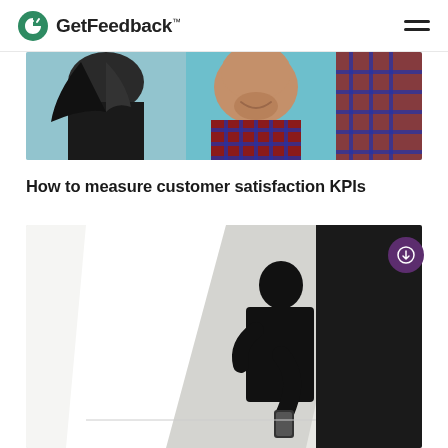GetFeedback™
[Figure (photo): Two smiling young people in casual clothes against a light blue background — partial crop showing faces and upper body]
How to measure customer satisfaction KPIs
[Figure (photo): Silhouette of a person looking down at a smartphone, standing against a white/grey abstract background with a dark panel on the right side]